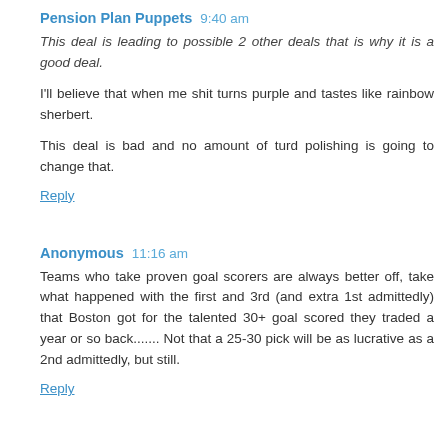Pension Plan Puppets 9:40 am
This deal is leading to possible 2 other deals that is why it is a good deal.
I'll believe that when me shit turns purple and tastes like rainbow sherbert.
This deal is bad and no amount of turd polishing is going to change that.
Reply
Anonymous 11:16 am
Teams who take proven goal scorers are always better off, take what happened with the first and 3rd (and extra 1st admittedly) that Boston got for the talented 30+ goal scored they traded a year or so back....... Not that a 25-30 pick will be as lucrative as a 2nd admittedly, but still.
Reply